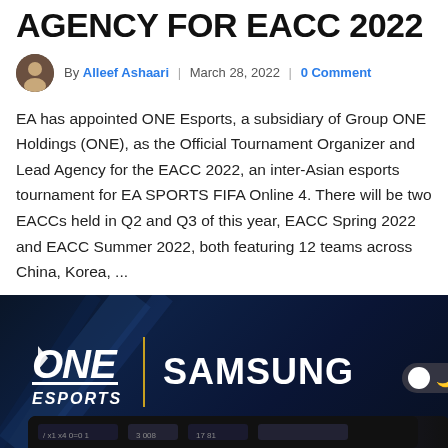AGENCY FOR EACC 2022
By Alleef Ashaari | March 28, 2022 | 0 Comment
EA has appointed ONE Esports, a subsidiary of Group ONE Holdings (ONE), as the Official Tournament Organizer and Lead Agency for the EACC 2022, an inter-Asian esports tournament for EA SPORTS FIFA Online 4. There will be two EACCs held in Q2 and Q3 of this year, EACC Spring 2022 and EACC Summer 2022, both featuring 12 teams across China, Korea, ...
[Figure (photo): ONE Esports and Samsung logo on a dark blue background with a phone device partially visible at the bottom]